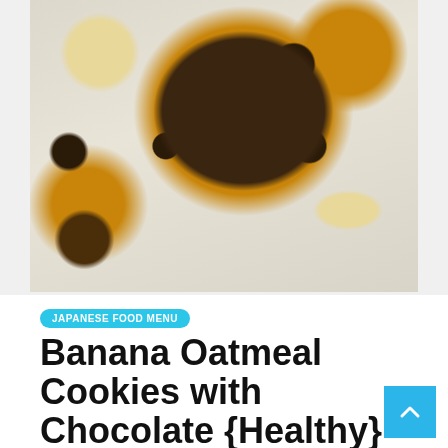[Figure (photo): Overhead photo of banana oatmeal chocolate chip cookies on a white surface, with banana slices, oats, and chocolate chips scattered around.]
JAPANESE FOOD MENU
Banana Oatmeal Cookies with Chocolate {Healthy}